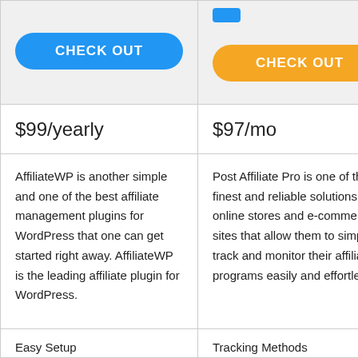| AffiliateWP | Post Affiliate Pro |
| --- | --- |
| CHECK OUT (blue button) | CHECK OUT (orange button) |
| $99/yearly | $97/mo |
| AffiliateWP is another simple and one of the best affiliate management plugins for WordPress that one can get started right away. AffiliateWP is the leading affiliate plugin for WordPress. | Post Affiliate Pro is one of the finest and reliable solutions for online stores and e-commerce sites that allow them to simply to track and monitor their affiliate programs easily and effortlessly. |
| Easy Setup | Tracking Methods |